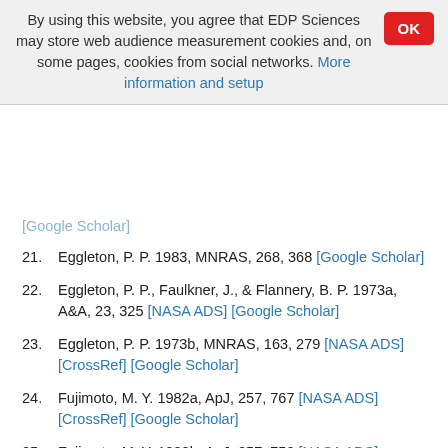By using this website, you agree that EDP Sciences may store web audience measurement cookies and, on some pages, cookies from social networks. More information and setup
21. Eggleton, P. P. 1983, MNRAS, 268, 368 [Google Scholar]
22. Eggleton, P. P., Faulkner, J., & Flannery, B. P. 1973a, A&A, 23, 325 [NASA ADS] [Google Scholar]
23. Eggleton, P. P. 1973b, MNRAS, 163, 279 [NASA ADS] [CrossRef] [Google Scholar]
24. Fujimoto, M. Y. 1982a, ApJ, 257, 767 [NASA ADS] [CrossRef] [Google Scholar]
25. Fujimoto, M. Y. 1982b, ApJ, 257, 752 [NASA ADS] [CrossRef] [Google Scholar]
26. Greiner, J. 2002, ApJ, 578, L59 [NASA ADS] [CrossRef] [Google Scholar]
27. Greiner, J. 2000, New Astron., 5, 137 [NASA ADS]